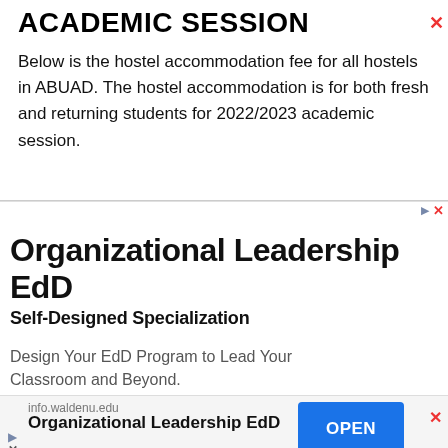ACADEMIC SESSION
Below is the hostel accommodation fee for all hostels in ABUAD. The hostel accommodation is for both fresh and returning students for 2022/2023 academic session.
[Figure (infographic): Advertisement banner for Walden University Organizational Leadership EdD program with Self-Designed Specialization. Includes title 'Organizational Leadership EdD', subtitle 'Self-Designed Specialization', description 'Design Your EdD Program to Lead Your Classroom and Beyond.', bottom bar with 'info.waldenu.edu', 'Organizational Leadership EdD', and an 'OPEN' button.]